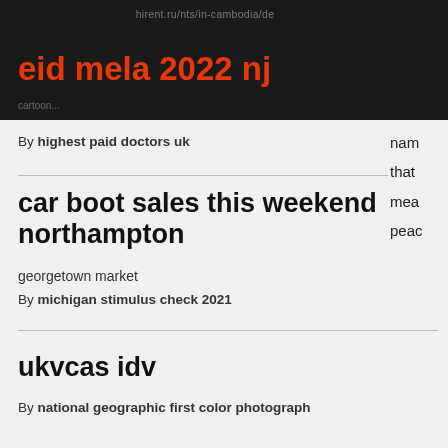eid mela 2022 nj
By highest paid doctors uk
car boot sales this weekend northampton
georgetown market
By michigan stimulus check 2021
ukvcas idv
By national geographic first color photograph
fox point farm shelties
inverness village four floor plans